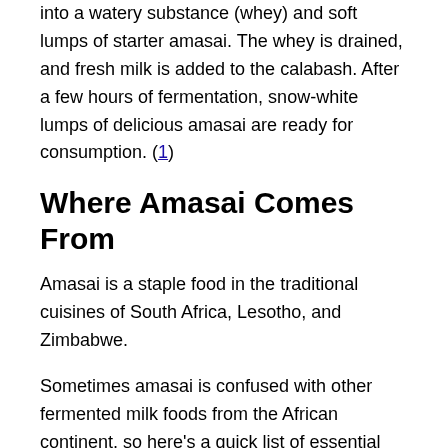into a watery substance (whey) and soft lumps of starter amasai. The whey is drained, and fresh milk is added to the calabash. After a few hours of fermentation, snow-white lumps of delicious amasai are ready for consumption. (1)
Where Amasai Comes From
Amasai is a staple food in the traditional cuisines of South Africa, Lesotho, and Zimbabwe.
Sometimes amasai is confused with other fermented milk foods from the African continent, so here's a quick list of essential differences:
The Namibian omashikwa is prepared by fermenting buttermilk instead of whole milk. (2)
In Kenya, milk is fermented in soot-lined calabash